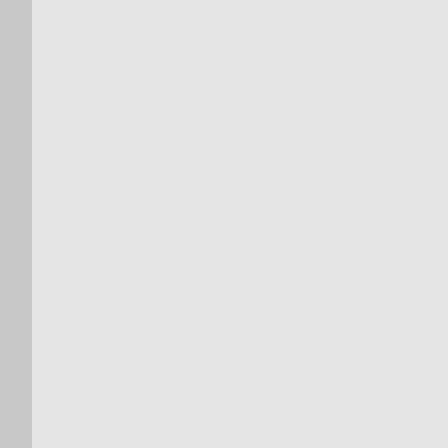Suba @ Wealth Informatio…
I just love food, that would be my weakness. I prep next week's food during the weekend but then I open the fridge from the fridge and I start craving for something else because I have a problem con…
REPLY
Kris   September 20, 2010 a…
Hi Suba – I know what you mean! After a few days I am just dying for new flavors, and then I pack leftover va… whatever. My kids have been the road. I need to get out… so I am not super motivate…
REPLY
Invest It Wisely   September…